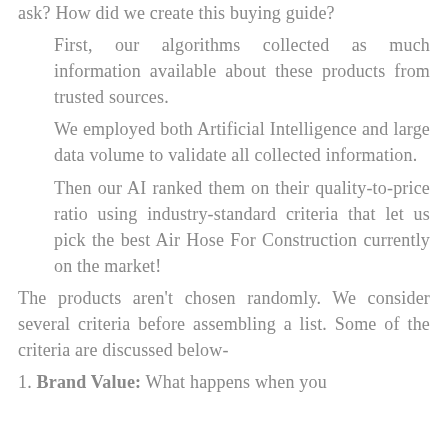ask? How did we create this buying guide?
First, our algorithms collected as much information available about these products from trusted sources.
We employed both Artificial Intelligence and large data volume to validate all collected information.
Then our AI ranked them on their quality-to-price ratio using industry-standard criteria that let us pick the best Air Hose For Construction currently on the market!
The products aren't chosen randomly. We consider several criteria before assembling a list. Some of the criteria are discussed below-
1. Brand Value: What happens when you